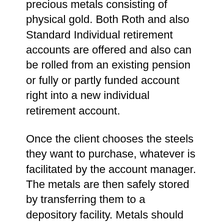precious metals consisting of physical gold. Both Roth and also Standard Individual retirement accounts are offered and also can be rolled from an existing pension or fully or partly funded account right into a new individual retirement account.
Once the client chooses the steels they want to purchase, whatever is facilitated by the account manager. The metals are then safely stored by transferring them to a depository facility. Metals should meet the fineness standards of the internal revenue service of 99.9 percent pureness to get enhancement to a precious metals individual retirement account.
Services Offered
The first company is Raleigh Metals IRA...